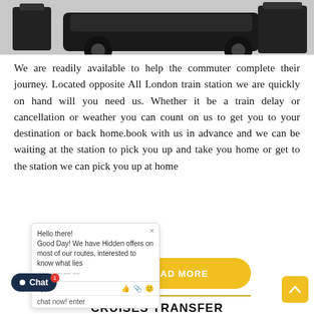[Figure (photo): Top strip showing luggage and a vehicle — cropped transportation/travel photo in black and white tones]
We are readily available to help the commuter complete their journey. Located opposite All London train station we are quickly on hand will you need us. Whether it be a train delay or cancellation or weather you can count on us to get you to your destination or back home.book with us in advance and we can be waiting at the station to pick you up and take you home or get to the station we can pick you up at home
[Figure (screenshot): Live chat widget overlay showing greeting message: Hello there! Good Day! We have Hidden offers on most of our routes, interested to know what lies [ahead?] ... chat now! enter. With Type field and emoji/attachment icons at bottom.]
READ MORE
CRUISES TRANSFER